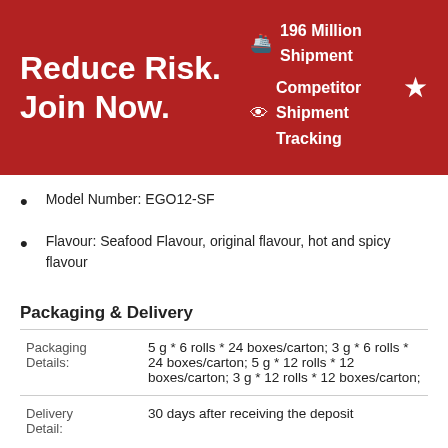Reduce Risk. Join Now. | 196 Million Shipment | Competitor Shipment Tracking
Model Number: EGO12-SF
Flavour: Seafood Flavour, original flavour, hot and spicy flavour
Packaging & Delivery
|  |  |
| --- | --- |
| Packaging Details: | 5 g * 6 rolls * 24 boxes/carton; 3 g * 6 rolls * 24 boxes/carton; 5 g * 12 rolls * 12 boxes/carton; 3 g * 12 rolls * 12 boxes/carton; |
| Delivery Detail: | 30 days after receiving the deposit |